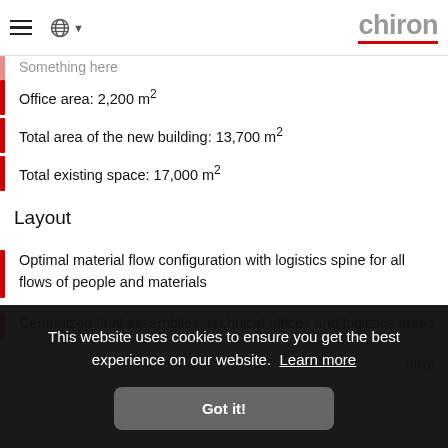chiron [logo with hamburger and globe]
Office area: 2,200 m²
Total area of the new building: 13,700 m²
Total existing space: 17,000 m²
Layout
Optimal material flow configuration with logistics spine for all flows of people and materials
Centralized final assemblies, technical offices and logistics areas
This website uses cookies to ensure you get the best experience on our website. Learn more
Got it!